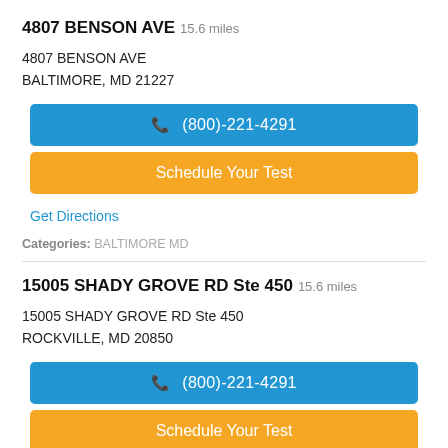4807 BENSON AVE 15.6 miles
4807 BENSON AVE
BALTIMORE, MD 21227
(800)-221-4291
Schedule Your Test
Get Directions
Categories: BALTIMORE MD
15005 SHADY GROVE RD Ste 450 15.6 miles
15005 SHADY GROVE RD Ste 450
ROCKVILLE, MD 20850
(800)-221-4291
Schedule Your Test
Get Directions